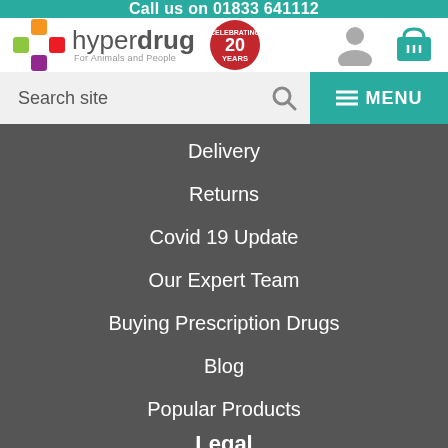Call us on 01833 641112
[Figure (logo): Hyperdrug logo with cross icon and 20 years celebrating badge. For Animals and People tagline.]
Search site
Delivery
Returns
Covid 19 Update
Our Expert Team
Buying Prescription Drugs
Blog
Popular Products
Legal